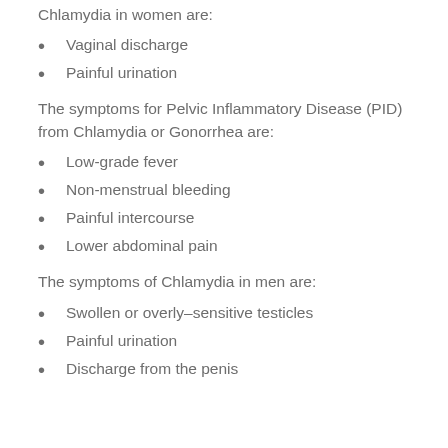Chlamydia in women are:
Vaginal discharge
Painful urination
The symptoms for Pelvic Inflammatory Disease (PID) from Chlamydia or Gonorrhea are:
Low-grade fever
Non-menstrual bleeding
Painful intercourse
Lower abdominal pain
The symptoms of Chlamydia in men are:
Swollen or overly–sensitive testicles
Painful urination
Discharge from the penis